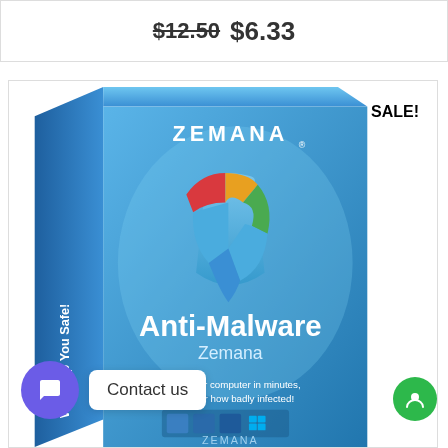$12.50  $6.33
[Figure (photo): Zemana Anti-Malware software box with blue background, shield logo with red/yellow/green/blue segments, text 'We Keep You Safe!' on spine, 'Anti-Malware Zemana' on front, 'Clean your computer in minutes, no matter how badly infected!']
SALE!
Contact us